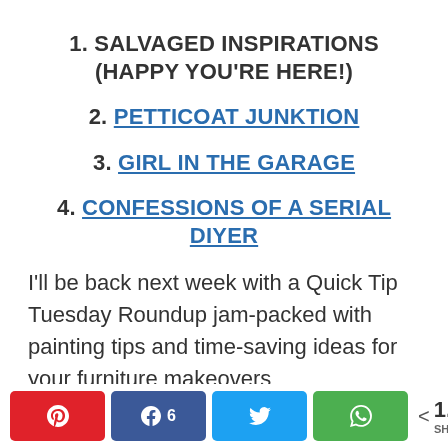1. SALVAGED INSPIRATIONS (HAPPY YOU'RE HERE!)
2. PETTICOAT JUNKTION
3. GIRL IN THE GARAGE
4. CONFESSIONS OF A SERIAL DIYER
I'll be back next week with a Quick Tip Tuesday Roundup jam-packed with painting tips and time-saving ideas for your furniture makeovers
Pinterest | Facebook 6 | Twitter | WhatsApp | < 1.7K SHARES